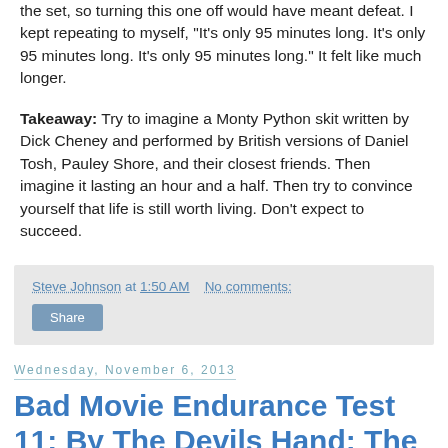the set, so turning this one off would have meant defeat. I kept repeating to myself, "It's only 95 minutes long. It's only 95 minutes long. It's only 95 minutes long." It felt like much longer.
Takeaway: Try to imagine a Monty Python skit written by Dick Cheney and performed by British versions of Daniel Tosh, Pauley Shore, and their closest friends. Then imagine it lasting an hour and a half. Then try to convince yourself that life is still worth living. Don't expect to succeed.
Steve Johnson at 1:50 AM   No comments:
Share
Wednesday, November 6, 2013
Bad Movie Endurance Test 11: By The Devils Hand: The 666 Killer
The penultimate movie in the Freakshow Cinema Collection,